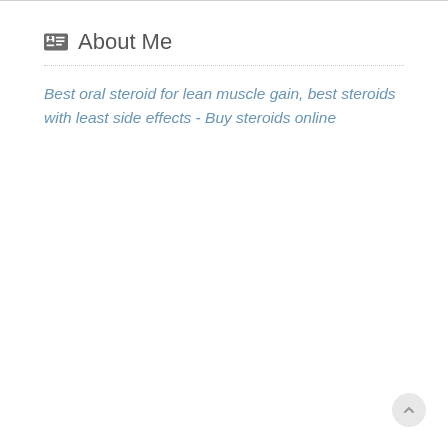About Me
Best oral steroid for lean muscle gain, best steroids with least side effects - Buy steroids online